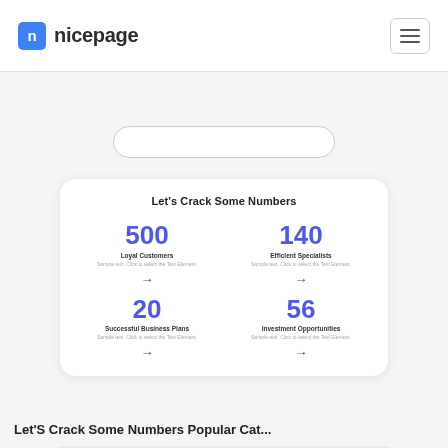nicepage
[Figure (screenshot): Partial search bar / input field at top of page content]
Let's Crack Some Numbers
500 | Loyal Customers
140 | Efficient Specialists
20 | Successful Business Plans
56 | Investment Opportunities
Let'S Crack Some Numbers Popular Cat...
[Figure (screenshot): We help and solve your business problem section with purple text and photo of two people working]
Duis aute irure dolor in reprehenderit in voluptate velit esse cillum dolore eu fugiat nulla.
READ MORE